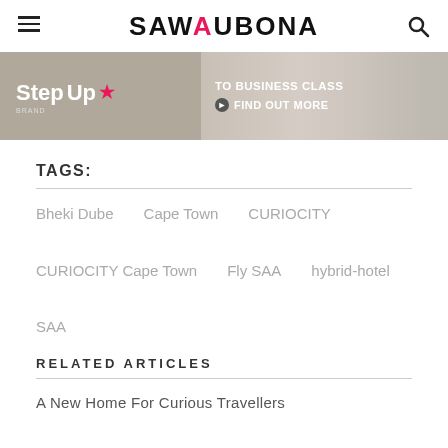SAWUBONA
[Figure (photo): Banner advertisement for StepUp to Business Class with 'FIND OUT MORE' call to action button, showing a passenger in business class seat]
TAGS:
Bheki Dube
Cape Town
CURIOCITY
CURIOCITY Cape Town
Fly SAA
hybrid-hotel
SAA
RELATED ARTICLES
A New Home For Curious Travellers